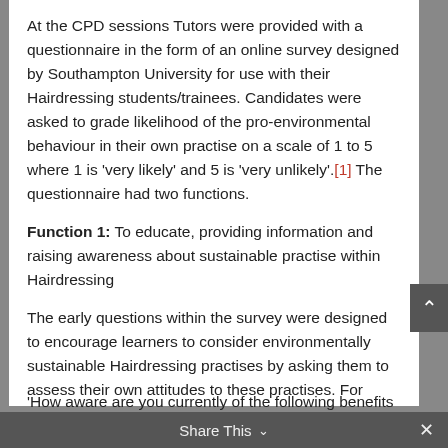At the CPD sessions Tutors were provided with a questionnaire in the form of an online survey designed by Southampton University for use with their Hairdressing students/trainees. Candidates were asked to grade likelihood of the pro-environmental behaviour in their own practise on a scale of 1 to 5 where 1 is 'very likely' and 5 is 'very unlikely'.[1] The questionnaire had two functions.
Function 1: To educate, providing information and raising awareness about sustainable practise within Hairdressing
The early questions within the survey were designed to encourage learners to consider environmentally sustainable Hairdressing practises by asking them to assess their own attitudes to these practises. For example:
'How aware are you currently of the following benefits